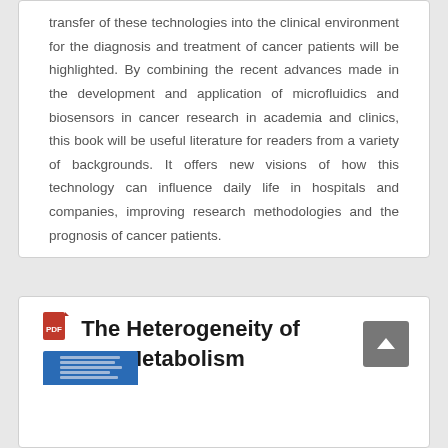transfer of these technologies into the clinical environment for the diagnosis and treatment of cancer patients will be highlighted. By combining the recent advances made in the development and application of microfluidics and biosensors in cancer research in academia and clinics, this book will be useful literature for readers from a variety of backgrounds. It offers new visions of how this technology can influence daily life in hospitals and companies, improving research methodologies and the prognosis of cancer patients.
The Heterogeneity of Cancer Metabolism